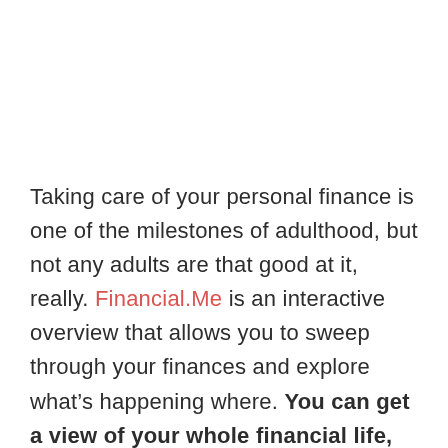Taking care of your personal finance is one of the milestones of adulthood, but not any adults are that good at it, really. Financial.Me is an interactive overview that allows you to sweep through your finances and explore what's happening where. You can get a view of your whole financial life, see what's ahead, and then tweak things to see how you can change the future.